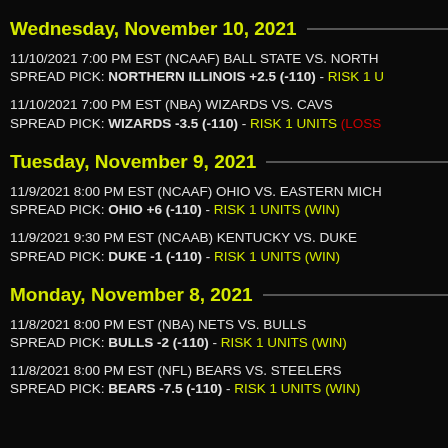Wednesday, November 10, 2021
11/10/2021 7:00 PM EST (NCAAF) BALL STATE VS. NORTH
SPREAD PICK: NORTHERN ILLINOIS +2.5 (-110) - RISK 1 U
11/10/2021 7:00 PM EST (NBA) WIZARDS VS. CAVS
SPREAD PICK: WIZARDS -3.5 (-110) - RISK 1 UNITS (LOSS)
Tuesday, November 9, 2021
11/9/2021 8:00 PM EST (NCAAF) OHIO VS. EASTERN MICH
SPREAD PICK: OHIO +6 (-110) - RISK 1 UNITS (WIN)
11/9/2021 9:30 PM EST (NCAAB) KENTUCKY VS. DUKE
SPREAD PICK: DUKE -1 (-110) - RISK 1 UNITS (WIN)
Monday, November 8, 2021
11/8/2021 8:00 PM EST (NBA) NETS VS. BULLS
SPREAD PICK: BULLS -2 (-110) - RISK 1 UNITS (WIN)
11/8/2021 8:00 PM EST (NFL) BEARS VS. STEELERS
SPREAD PICK: BEARS -7.5 (-110) - RISK 1 UNITS (WIN)